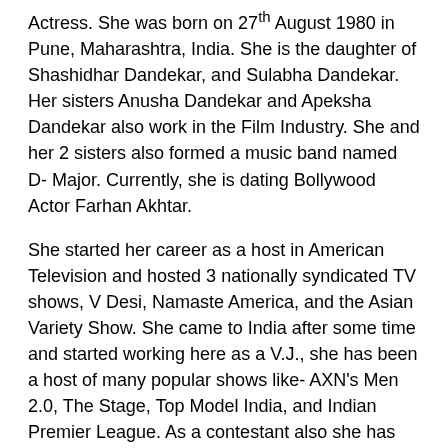Actress. She was born on 27th August 1980 in Pune, Maharashtra, India. She is the daughter of Shashidhar Dandekar, and Sulabha Dandekar. Her sisters Anusha Dandekar and Apeksha Dandekar also work in the Film Industry. She and her 2 sisters also formed a music band named D- Major. Currently, she is dating Bollywood Actor Farhan Akhtar.
She started her career as a host in American Television and hosted 3 nationally syndicated TV shows, V Desi, Namaste America, and the Asian Variety Show. She came to India after some time and started working here as a V.J., she has been a host of many popular shows like- AXN's Men 2.0, The Stage, Top Model India, and Indian Premier League. As a contestant also she has been part of many reality shows like- Ace of Space Season 1, I Can Do That, Jhalak Dikhla Jaa season 5, and Khatron Ke Khiladi.
She also tried her hands in movies but failed. She will be seen in Telugu movie That is Mahalakshmi, and Zam Zam.